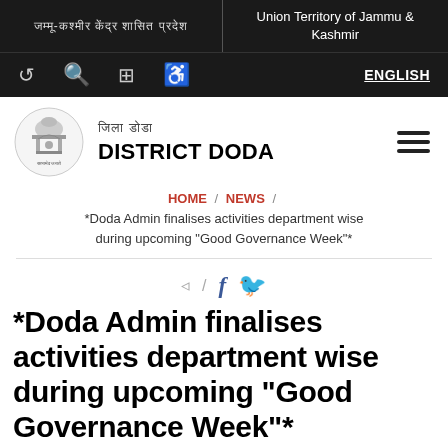जम्मू-कश्मीर केंद्र | Union Territory of Jammu & Kashmir
ENGLISH
[Figure (logo): Emblem of India / District Doda government seal]
जिला डोडा | DISTRICT DODA
HOME / NEWS / *Doda Admin finalises activities department wise during upcoming "Good Governance Week"*
*Doda Admin finalises activities department wise during upcoming "Good Governance Week"*